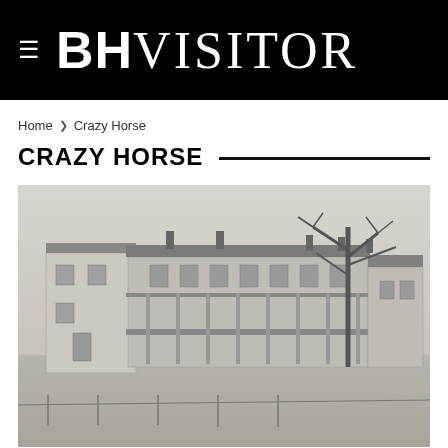BHVISITOR
Home > Crazy Horse
CRAZY HORSE
[Figure (photo): Black and white historical photograph of a large multi-story frontier or military building complex with wooden porches/verandas on two levels, multiple chimneys, and a bare deciduous tree to the right. The ground appears dusty/sandy.]